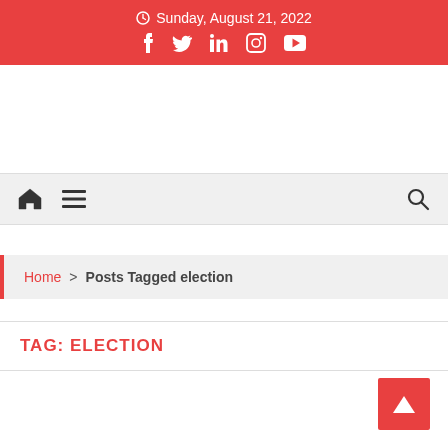Sunday, August 21, 2022
[Figure (other): Social media icons: Facebook, Twitter, LinkedIn, Instagram, YouTube]
[Figure (other): Navigation bar with home icon, hamburger menu icon, and search icon]
Home > Posts Tagged election
TAG: ELECTION
[Figure (other): Back to top button with upward arrow]